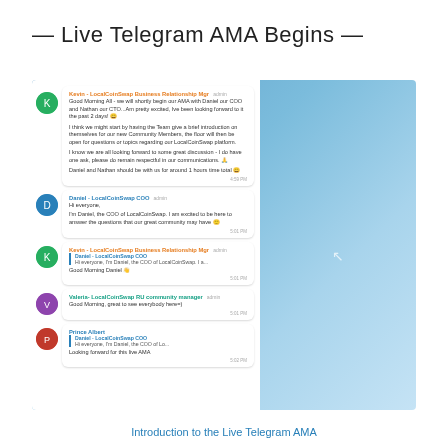— Live Telegram AMA Begins —
[Figure (screenshot): Screenshot of a Telegram group chat showing an AMA (Ask Me Anything) session for LocalCoinSwap. Multiple messages from Kevin (LocalCoinSwap Business Relationship Mgr), Daniel (LocalCoinSwap COO), Valeria (LocalCoinSwap RU community manager), and Prince Albert are visible against a blue background.]
Introduction to the Live Telegram AMA